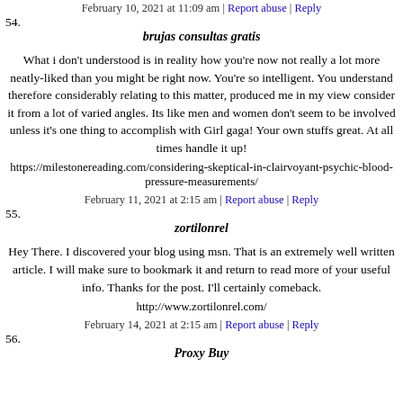February 10, 2021 at 11:09 am | Report abuse | Reply
54. brujas consultas gratis
What i don't understood is in reality how you're now not really a lot more neatly-liked than you might be right now. You're so intelligent. You understand therefore considerably relating to this matter, produced me in my view consider it from a lot of varied angles. Its like men and women don't seem to be involved unless it's one thing to accomplish with Girl gaga! Your own stuffs great. At all times handle it up!
https://milestonereading.com/considering-skeptical-in-clairvoyant-psychic-blood-pressure-measurements/
February 11, 2021 at 2:15 am | Report abuse | Reply
55. zortilonrel
Hey There. I discovered your blog using msn. That is an extremely well written article. I will make sure to bookmark it and return to read more of your useful info. Thanks for the post. I'll certainly comeback.
http://www.zortilonrel.com/
February 14, 2021 at 2:15 am | Report abuse | Reply
56. Proxy Buy